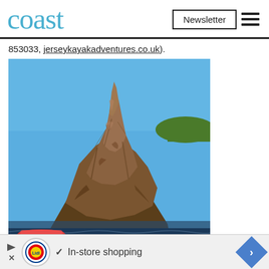coast | Newsletter
853033, jerseykayakadventures.co.uk).
[Figure (photo): A tall rocky sea stack or coastal cliff formation photographed from water level, showing textured layered rock faces in browns and greys rising to a pointed top. Blue sky background, green vegetation visible at top right. A colourful kayak partially visible at bottom left.]
In-store shopping